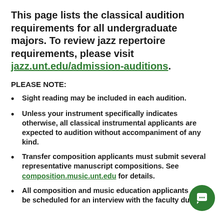This page lists the classical audition requirements for all undergraduate majors. To review jazz repertoire requirements, please visit jazz.unt.edu/admission-auditions.
PLEASE NOTE:
Sight reading may be included in each audition.
Unless your instrument specifically indicates otherwise, all classical instrumental applicants are expected to audition without accompaniment of any kind.
Transfer composition applicants must submit several representative manuscript compositions. See composition.music.unt.edu for details.
All composition and music education applicants will be scheduled for an interview with the faculty during